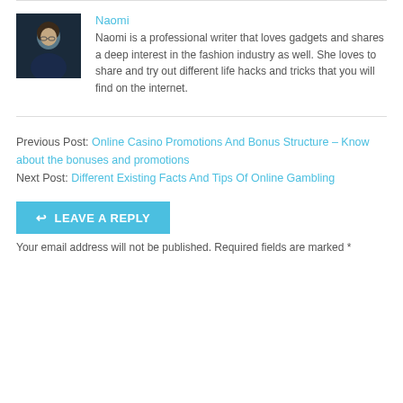[Figure (photo): Profile photo of author Naomi, a woman with dark hair wearing a dark jacket, shown from roughly chest up.]
Naomi
Naomi is a professional writer that loves gadgets and shares a deep interest in the fashion industry as well. She loves to share and try out different life hacks and tricks that you will find on the internet.
Previous Post: Online Casino Promotions And Bonus Structure – Know about the bonuses and promotions
Next Post: Different Existing Facts And Tips Of Online Gambling
↩ LEAVE A REPLY
Your email address will not be published. Required fields are marked *